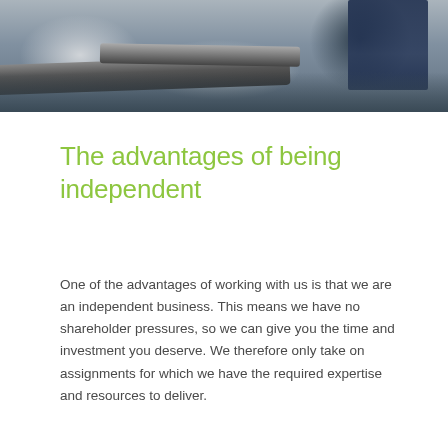[Figure (photo): Industrial machinery photo showing pipes and equipment with a worker in blue uniform in the background, taken from above/side angle]
The advantages of being independent
One of the advantages of working with us is that we are an independent business. This means we have no shareholder pressures, so we can give you the time and investment you deserve. We therefore only take on assignments for which we have the required expertise and resources to deliver.
More about Rockfield >